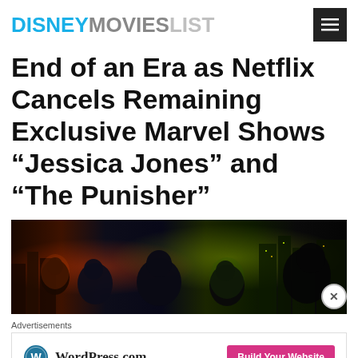DISNEYMOVIESLIST
End of an Era as Netflix Cancels Remaining Exclusive Marvel Shows “Jessica Jones” and “The Punisher”
[Figure (photo): Promotional image showing Marvel Netflix characters (The Defenders / Punisher cast) against a dark city backdrop]
Advertisements
[Figure (other): WordPress.com advertisement banner with 'Build Your Website' button]